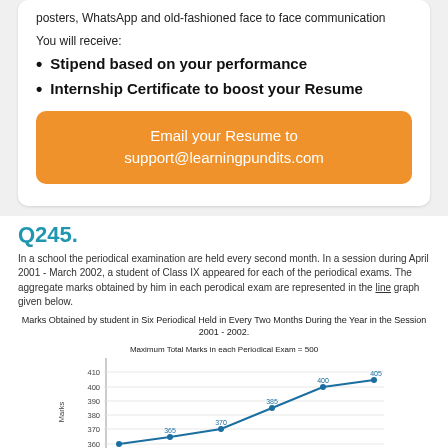posters, WhatsApp and old-fashioned face to face communication
You will receive:
Stipend based on your performance
Internship Certificate to boost your Resume
Email your Resume to support@learningpundits.com
Q245.
In a school the periodical examination are held every second month. In a session during April 2001 - March 2002, a student of Class IX appeared for each of the periodical exams. The aggregate marks obtained by him in each perodical exam are represented in the line graph given below.
Marks Obtained by student in Six Periodical Held in Every Two Months During the Year in the Session 2001 - 2002.
[Figure (line-chart): Maximum Total Marks in each Periodical Exam = 500]